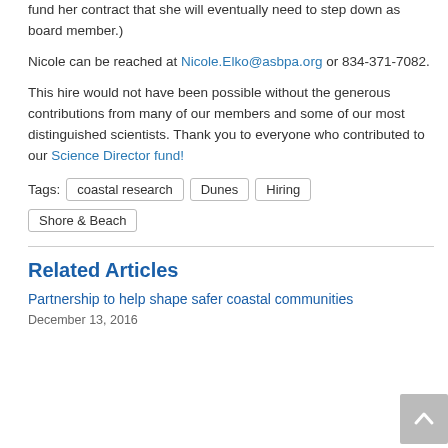fund her contract that she will eventually need to step down as board member.)
Nicole can be reached at Nicole.Elko@asbpa.org or 834-371-7082.
This hire would not have been possible without the generous contributions from many of our members and some of our most distinguished scientists. Thank you to everyone who contributed to our Science Director fund!
Tags: coastal research  Dunes  Hiring  Shore & Beach
Related Articles
Partnership to help shape safer coastal communities
December 13, 2016